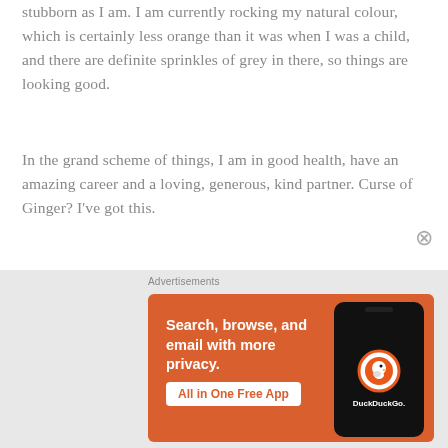stubborn as I am. I am currently rocking my natural colour, which is certainly less orange than it was when I was a child, and there are definite sprinkles of grey in there, so things are looking good.
In the grand scheme of things, I am in good health, have an amazing career and a loving, generous, kind partner. Curse of Ginger? I've got this.
Janine was born in Leeds in 1970 to working-class parents, the middle of 3 children. She graduated from Teacher Training College in Lincoln in 1993 and has taught in Norfolk and Suffolk ever since.
[Figure (screenshot): DuckDuckGo advertisement banner with orange background showing 'Search, browse, and email with more privacy. All in One Free App' text and a phone mockup with DuckDuckGo logo]